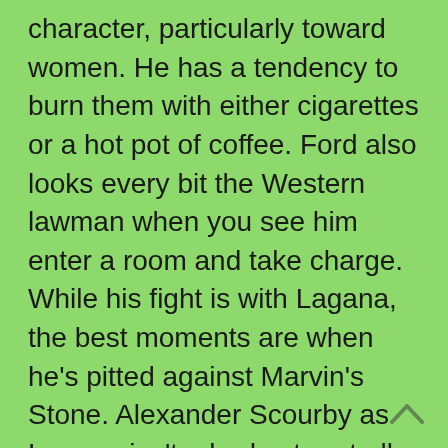character, particularly toward women. He has a tendency to burn them with either cigarettes or a hot pot of coffee. Ford also looks every bit the Western lawman when you see him enter a room and take charge. While his fight is with Lagana, the best moments are when he’s pitted against Marvin’s Stone. Alexander Scourby as Lagana isn’t a bad actor at all, but he lacks the presence to hold his own against Ford. And thus reveals the movie’s single greatest flaw. It all falls a bit flat when neither